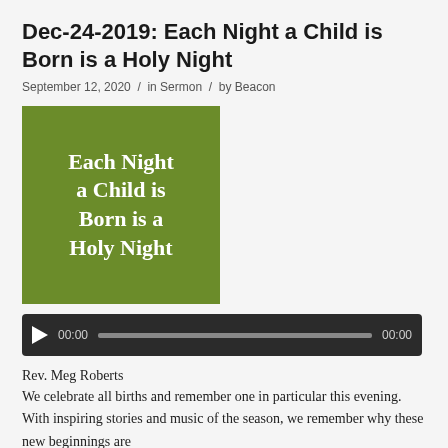Dec-24-2019: Each Night a Child is Born is a Holy Night
September 12, 2020 / in Sermon / by Beacon
[Figure (illustration): Green square image with bold white serif text reading: Each Night a Child is Born is a Holy Night]
[Figure (other): Audio player with play button, time display 00:00, progress bar, and end time 00:00]
Rev. Meg Roberts
We celebrate all births and remember one in particular this evening. With inspiring stories and music of the season, we remember why these new beginnings are